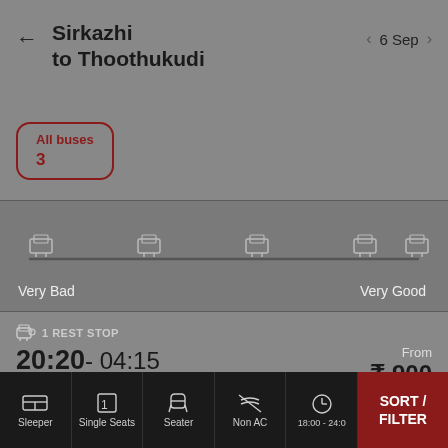Sirkazhi to Thoothukudi — 6 Sep
All buses
3
[Figure (infographic): Bus rating slider with 5 bus/seat icons (rating markers) across a horizontal track, labeled 'Very Bad' on the left and 'Very Good' on the right]
1 REST STOP
20:20 - 04:15
7h 55m • 18 Seats • 8 Single seats
Universal Travels
NON AC Seater / Sleeper 2+1
From ₹ 900
★ 2.8
Sleeper | Single Seats | Seater | Non AC | 18:00 - 24:00 | SORT / FILTER